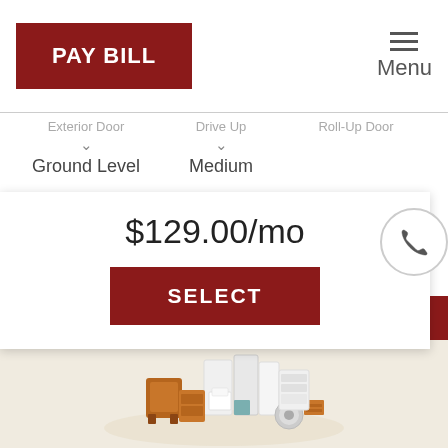PAY BILL
Menu
Exterior Door   Drive Up   Roll-Up Door
Ground Level
Medium
$129.00/mo
SELECT
(1) UNIT LEFT
[Figure (illustration): 3D isometric illustration of household storage items including furniture, boxes, appliances, and personal belongings arranged together]